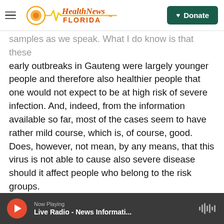Health News Florida — Donate
samples as we speak. What I do know is that these early outbreaks in Gauteng were largely younger people and therefore also healthier people that one would not expect to be at high risk of severe infection. And, indeed, from the information available so far, most of the cases seem to have rather mild course, which is, of course, good. Does, however, not mean, by any means, that this virus is not able to cause also severe disease should it affect people who belong to the risk groups.
Otherwise, our vaccination rate is very low, unfortunately. Therefore, it's probably likely that it would have infected also vaccinated individuals
Now Playing — Live Radio - News Informati...